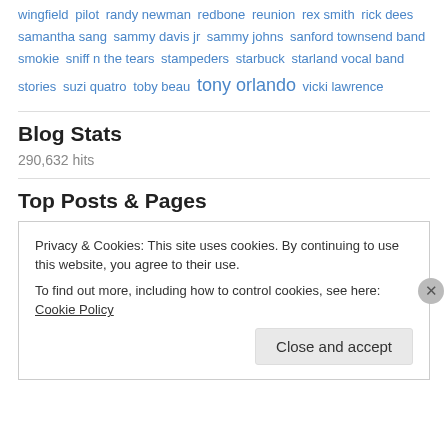wingfield pilot randy newman redbone reunion rex smith rick dees samantha sang sammy davis jr sammy johns sanford townsend band smokie sniff n the tears stampeders starbuck starland vocal band stories suzi quatro toby beau tony orlando vicki lawrence
Blog Stats
290,632 hits
Top Posts & Pages
Privacy & Cookies: This site uses cookies. By continuing to use this website, you agree to their use.
To find out more, including how to control cookies, see here: Cookie Policy
Close and accept